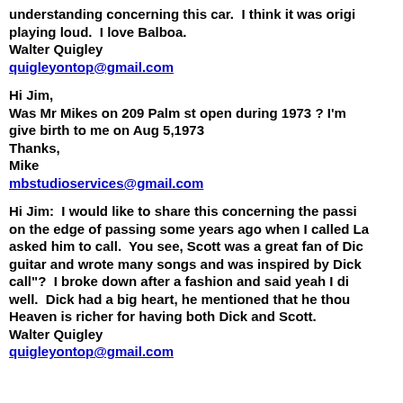understanding concerning this car.  I think it was origi... playing loud.  I love Balboa.
Walter Quigley
quigleyontop@gmail.com
Hi Jim,
Was Mr Mikes on 209 Palm st open during 1973 ? I'm... give birth to me on Aug 5,1973
Thanks,
Mike
mbstudioservices@gmail.com
Hi Jim:  I would like to share this concerning the passi... on the edge of passing some years ago when I called La... asked him to call.  You see, Scott was a great fan of Dic... guitar and wrote many songs and was inspired by Dick... call"?  I broke down after a fashion and said yeah I di... well.  Dick had a big heart, he mentioned that he thou... Heaven is richer for having both Dick and Scott.
Walter Quigley
quigleyontop@gmail.com